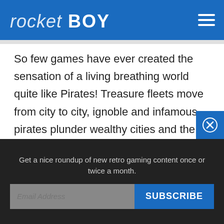rocketBOY
So few games have ever created the sensation of a living breathing world quite like Pirates! Treasure fleets move from city to city, ignoble and infamous pirates plunder wealthy cities and the political balances shift as nations wage war and attempt to spread their power through conquered cities. You yourself can be a vital part in all of this as you sail from city to city, gathering information from taverns, recruiting your crew, outfitting your fleet and sailing for adventure.
Get a nice roundup of new retro gaming content once or twice a month.